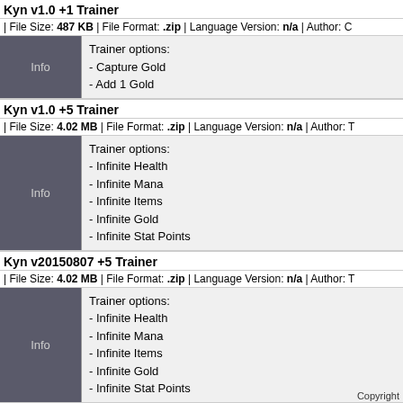Kyn v1.0 +1 Trainer
| File Size: 487 KB | File Format: .zip | Language Version: n/a | Author: C
Info — Trainer options:
- Capture Gold
- Add 1 Gold
Kyn v1.0 +5 Trainer
| File Size: 4.02 MB | File Format: .zip | Language Version: n/a | Author: T
Info — Trainer options:
- Infinite Health
- Infinite Mana
- Infinite Items
- Infinite Gold
- Infinite Stat Points
Kyn v20150807 +5 Trainer
| File Size: 4.02 MB | File Format: .zip | Language Version: n/a | Author: T
Info — Trainer options:
- Infinite Health
- Infinite Mana
- Infinite Items
- Infinite Gold
- Infinite Stat Points
none
Copyright